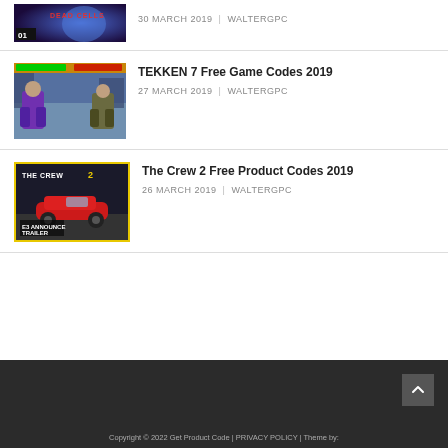[Figure (screenshot): Dead Cells game thumbnail with purple/dark tones and badge '01']
30 MARCH 2019 | WALTERGPC
[Figure (screenshot): Tekken 7 fighting game screenshot showing two fighters]
TEKKEN 7 Free Game Codes 2019
27 MARCH 2019 | WALTERGPC
[Figure (screenshot): The Crew 2 red car trailer thumbnail with E3 Announce Trailer text]
The Crew 2 Free Product Codes 2019
26 MARCH 2019 | WALTERGPC
Copyright © 2022 Get Product Code | PRIVACY POLICY | Theme by: